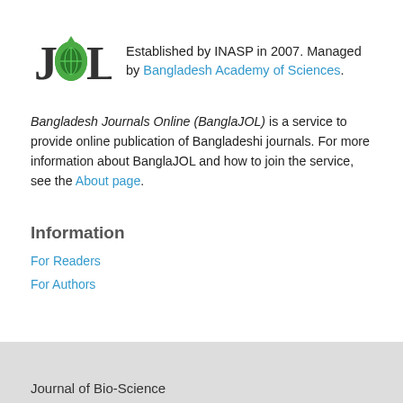[Figure (logo): BanglaJOL logo — JOL text with a green droplet icon containing a globe/chart symbol]
Established by INASP in 2007. Managed by Bangladesh Academy of Sciences.
Bangladesh Journals Online (BanglaJOL) is a service to provide online publication of Bangladeshi journals. For more information about BanglaJOL and how to join the service, see the About page.
Information
For Readers
For Authors
Journal of Bio-Science